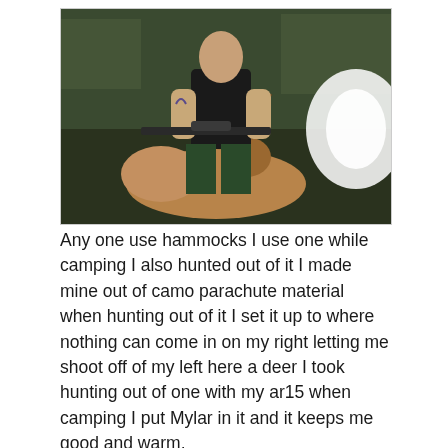[Figure (photo): A man in a black tank top kneeling behind a harvested deer (buck with antlers), holding a rifle with a scope. Taken at night or low light outdoors near vehicles.]
Any one use hammocks I use one while camping I also hunted out of it I made mine out of camo parachute material when hunting out of it I set it up to where nothing can come in on my right letting me shoot off of my left here a deer I took hunting out of one with my ar15 when camping I put Mylar in it and it keeps me good and warm.